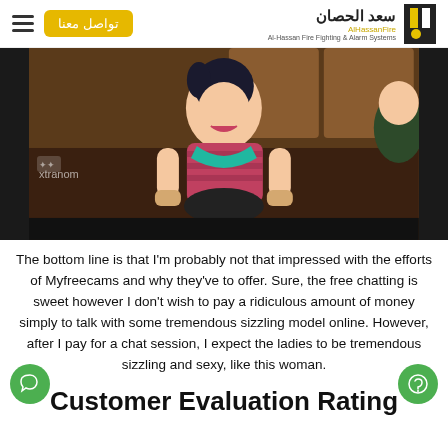تواصل معنا | سعد الحصان | Al-Hassan Fire Fighting & Alarm Systems
[Figure (screenshot): Animated 3D cartoon character of a girl with dark hair, wearing a pink striped top and teal scarf, with 'xtranom' watermark visible in the lower left.]
The bottom line is that I'm probably not that impressed with the efforts of Myfreecams and why they've to offer. Sure, the free chatting is sweet however I don't wish to pay a ridiculous amount of money simply to talk with some tremendous sizzling model online. However, after I pay for a chat session, I expect the ladies to be tremendous sizzling and sexy, like this woman.
Customer Evaluation Rating